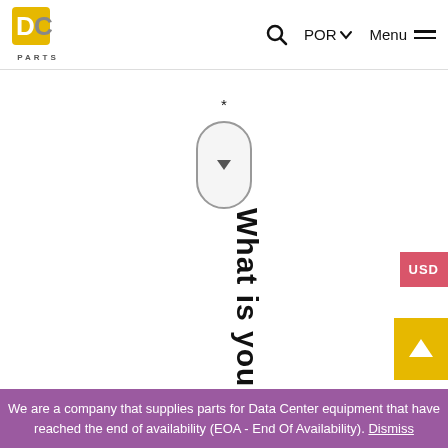DC PARTS — POR Menu
[Figure (screenshot): Dropdown select box with a downward chevron arrow, with a star/asterisk above it]
What is your ne
USD
[Figure (infographic): Yellow button with upward arrow icon]
We are a company that supplies parts for Data Center equipment that have reached the end of availability (EOA - End Of Availability). Dismiss